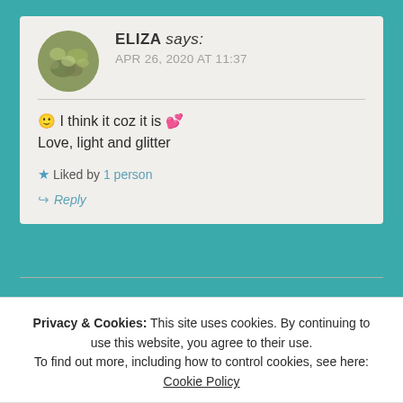ELIZA says: APR 26, 2020 AT 11:37
🙂 I think it coz it is 💕
Love, light and glitter
★ Liked by 1 person
↪ Reply
Privacy & Cookies: This site uses cookies. By continuing to use this website, you agree to their use.
To find out more, including how to control cookies, see here: Cookie Policy
Close and accept